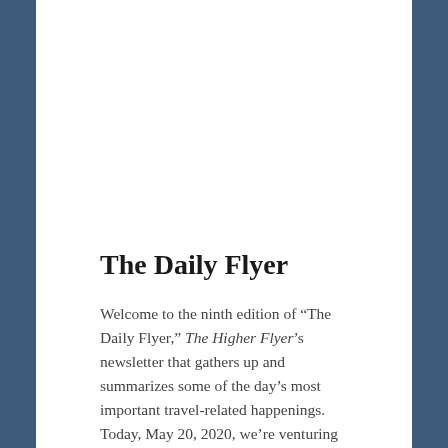The Daily Flyer
Welcome to the ninth edition of “The Daily Flyer,” The Higher Flyer’s newsletter that gathers up and summarizes some of the day’s most important travel-related happenings.   Today, May 20, 2020, we’re venturing out of our coronavirus slumber (it’s been two months!) to cover the measures airlines and